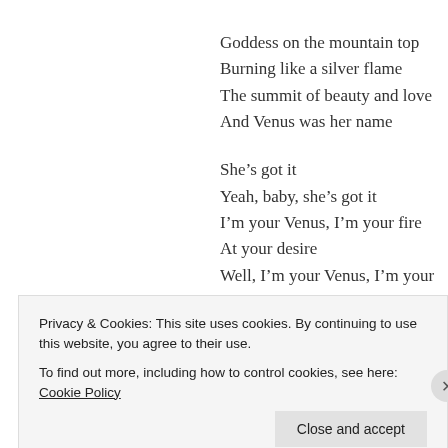Goddess on the mountain top
Burning like a silver flame
The summit of beauty and love
And Venus was her name

She’s got it
Yeah, baby, she’s got it
I’m your Venus, I’m your fire
At your desire
Well, I’m your Venus, I’m your fire
At your desire

Her weapons were her crystal eyes
Privacy & Cookies: This site uses cookies. By continuing to use this website, you agree to their use.
To find out more, including how to control cookies, see here: Cookie Policy